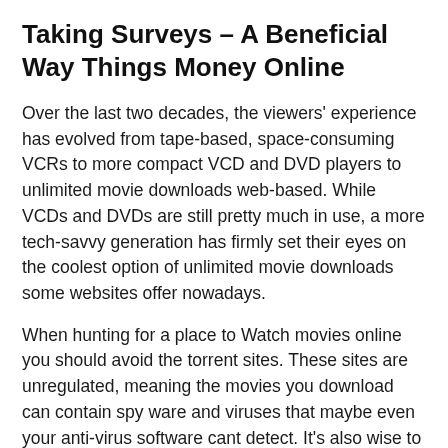Taking Surveys – A Beneficial Way Things Money Online
Over the last two decades, the viewers' experience has evolved from tape-based, space-consuming VCRs to more compact VCD and DVD players to unlimited movie downloads web-based. While VCDs and DVDs are still pretty much in use, a more tech-savvy generation has firmly set their eyes on the coolest option of unlimited movie downloads some websites offer nowadays.
When hunting for a place to Watch movies online you should avoid the torrent sites. These sites are unregulated, meaning the movies you download can contain spy ware and viruses that maybe even your anti-virus software cant detect. It's also wise to avoid looking for You Tube and other video sharing sites. You'll then very rarely find full movies upon them and use do find will be poor top rated quality.